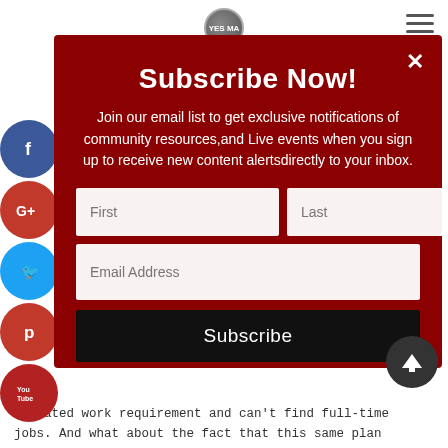[Figure (screenshot): Website subscription popup modal with dark red background on a webpage. Social media icons (Facebook, Google+, Twitter, Pinterest, YouTube) visible on left sidebar. Hamburger menu top right.]
Subscribe Now!
Join our email list to get exclusive notifications of community resources,and Live events when you sign up to receive new content alertsdirectly to your inbox.
mandated work requirement and can't find full-time jobs. And what about the fact that this same plan